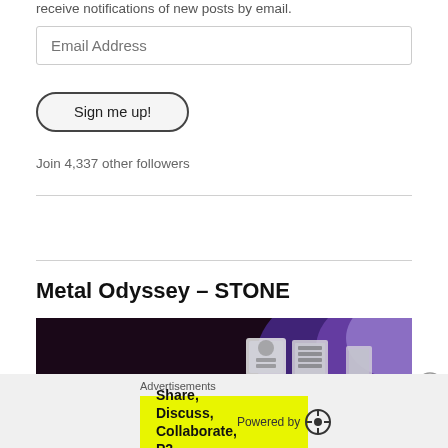receive notifications of new posts by email.
Email Address
Sign me up!
Join 4,337 other followers
Metal Odyssey – STONE
[Figure (photo): Dark concert/venue photo with orange/red stage lighting on the left and purple/blue lighting on the right, with illuminated signs visible in the background.]
Advertisements
Share, Discuss, Collaborate, P2. Powered by WordPress